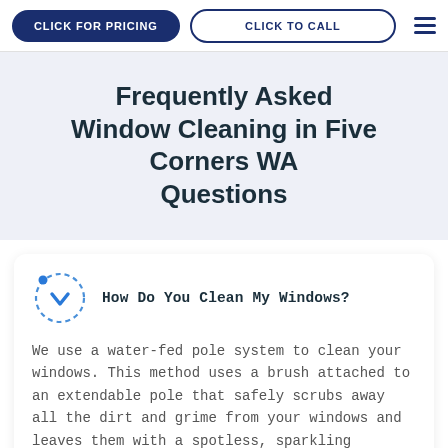CLICK FOR PRICING  |  CLICK TO CALL
Frequently Asked Window Cleaning in Five Corners WA Questions
How Do You Clean My Windows?
We use a water-fed pole system to clean your windows. This method uses a brush attached to an extendable pole that safely scrubs away all the dirt and grime from your windows and leaves them with a spotless, sparkling finish.